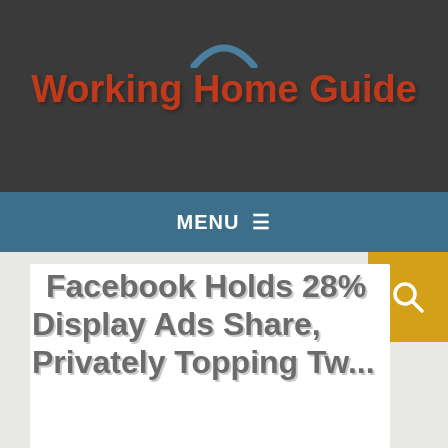Working Home Guide
MENU ≡
Facebook Holds 28% Display Ads Share, Privately Topping Twitter...